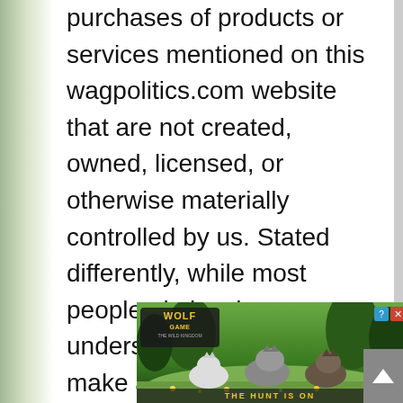purchases of products or services mentioned on this wagpolitics.com website that are not created, owned, licensed, or otherwise materially controlled by us. Stated differently, while most people obviously understand that individuals make a living by wa... aft...
[Figure (screenshot): Advertisement overlay for 'Wolf Game: The Wild Kingdom' showing wolves in a forest scene with the text 'THE HUNT IS ON' and close/help buttons in top right corner.]